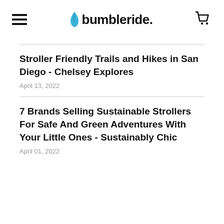bumbleride.
Stroller Friendly Trails and Hikes in San Diego - Chelsey Explores
April 13, 2022
7 Brands Selling Sustainable Strollers For Safe And Green Adventures With Your Little Ones - Sustainably Chic
April 01, 2022